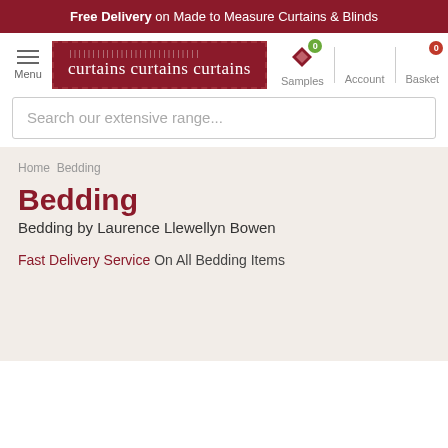Free Delivery on Made to Measure Curtains & Blinds
[Figure (logo): Curtains Curtains Curtains logo with ruler graphic in dark red dashed border box]
Menu
Samples 0 Account Basket 0
Search our extensive range...
Home Bedding
Bedding
Bedding by Laurence Llewellyn Bowen
Fast Delivery Service On All Bedding Items